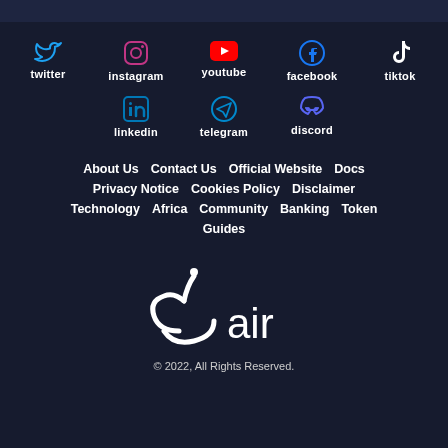[Figure (infographic): Social media icons row 1: twitter (blue bird), instagram (purple camera), youtube (red play button), facebook (blue F), tiktok (black music note)]
[Figure (infographic): Social media icons row 2: linkedin (blue in), telegram (blue paper plane), discord (blue gamepad)]
About Us  Contact Us  Official Website  Docs
Privacy Notice  Cookies Policy  Disclaimer
Technology  Africa  Community  Banking  Token
Guides
[Figure (logo): Air logo with stylized Arabic letter and 'air' text in white on dark background]
© 2022, All Rights Reserved.